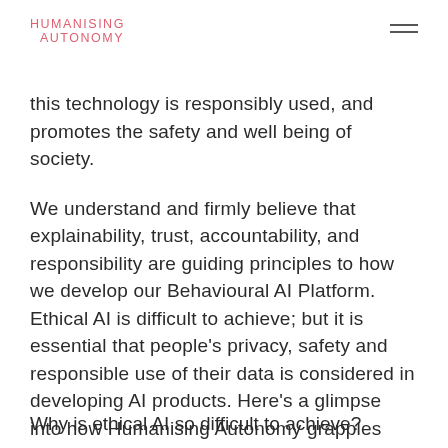HUMANISING AUTONOMY
this technology is responsibly used, and promotes the safety and well being of society.
We understand and firmly believe that explainability, trust, accountability, and responsibility are guiding principles to how we develop our Behavioural AI Platform. Ethical AI is difficult to achieve; but it is essential that people's privacy, safety and responsible use of their data is considered in developing AI products. Here's a glimpse into how Humanising Autonomy grapples with these challenges, and builds algorithms that support the ethical, safe use of AI.
Why is ethical AI so difficult to achieve?